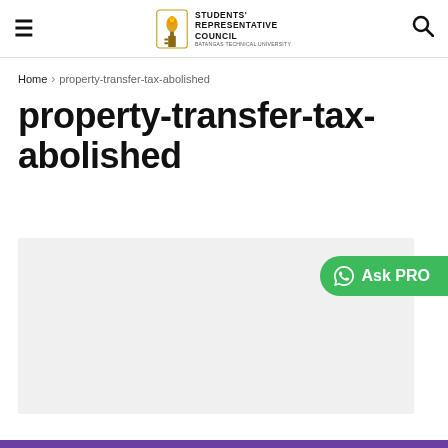Students' Representative Council — Batangas Technical University
Home > property-transfer-tax-abolished
property-transfer-tax-abolished
[Figure (other): Grey placeholder image area for article content]